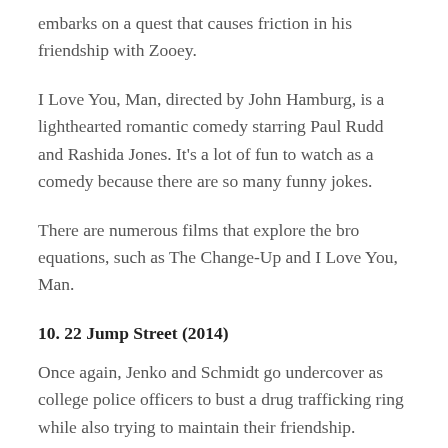embarks on a quest that causes friction in his friendship with Zooey.
I Love You, Man, directed by John Hamburg, is a lighthearted romantic comedy starring Paul Rudd and Rashida Jones. It's a lot of fun to watch as a comedy because there are so many funny jokes.
There are numerous films that explore the bro equations, such as The Change-Up and I Love You, Man.
10. 22 Jump Street (2014)
Once again, Jenko and Schmidt go undercover as college police officers to bust a drug trafficking ring while also trying to maintain their friendship.
In this sequel, Jonah Hill and Channing Tatum are back as the awesome undercover cops. While maintaining the raunchy